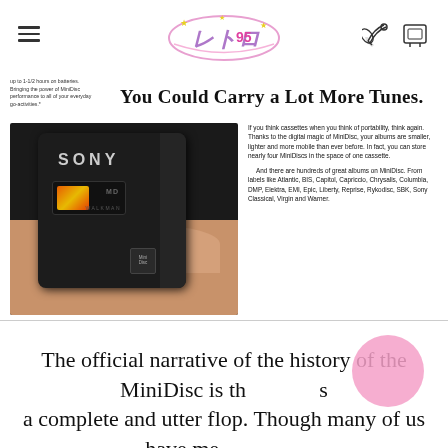Navigation header with logo and icons
[Figure (photo): Sony MiniDisc Walkman advertisement. Shows a black Sony MD Walkman device being held by a hand with pink nail polish. Headline reads 'You Could Carry a Lot More Tunes.' with body text about MiniDisc portability and available album labels.]
The official narrative of the history of the MiniDisc is th... a complete and utter flop. Though many of us have me... owning or listening to MiniDiscs in the 90's and early 2000's,